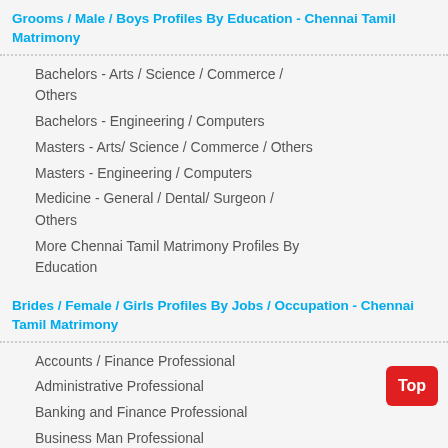Grooms / Male / Boys Profiles By Education - Chennai Tamil Matrimony
Bachelors - Arts / Science / Commerce / Others
Bachelors - Engineering / Computers
Masters - Arts/ Science / Commerce / Others
Masters - Engineering / Computers
Medicine - General / Dental/ Surgeon / Others
More Chennai Tamil Matrimony Profiles By Education
Brides / Female / Girls Profiles By Jobs / Occupation - Chennai Tamil Matrimony
Accounts / Finance Professional
Administrative Professional
Banking and Finance Professional
Business Man Professional
Clerk Professional
Customer Care Professional
Doctor Professional